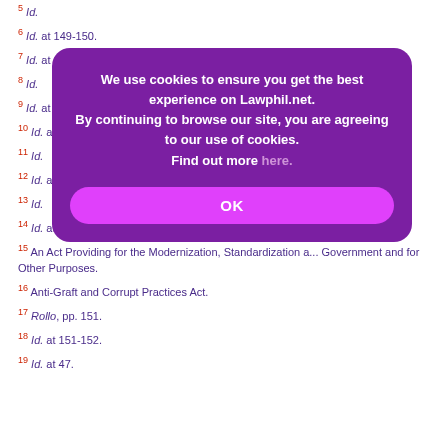Id.
Id. at 149-150.
Id. at 107.
Id.
Id. at 4.
Id. at 109-150.
Id.
Id. at 1...
Id.
Id. at 109-110.
An Act Providing for the Modernization, Standardization a... Government and for Other Purposes.
Anti-Graft and Corrupt Practices Act.
Rollo, pp. 151.
Id. at 151-152.
Id. at 47.